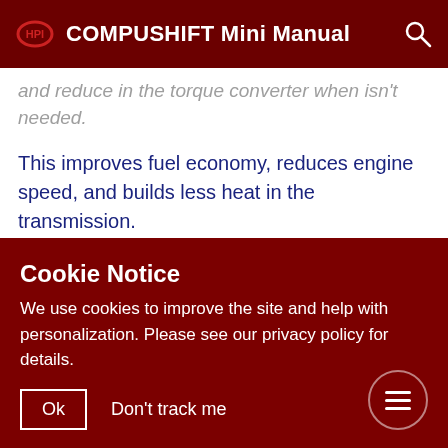COMPUSHIFT Mini Manual
and reduce in the torque converter when isn't needed.
This improves fuel economy, reduces engine speed, and builds less heat in the transmission.
Here are the basic rules used for controlling the torque converter clutch or "TCC":
The setting...
Cookie Notice
We use cookies to improve the site and help with personalization. Please see our privacy policy for details.
Ok
Don't track me